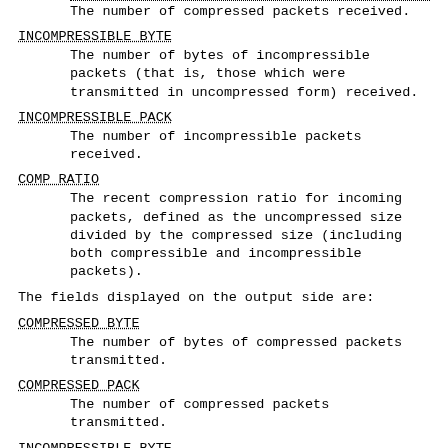The number of compressed packets received.
INCOMPRESSIBLE BYTE
The number of bytes of incompressible packets (that is, those which were transmitted in uncompressed form) received.
INCOMPRESSIBLE PACK
The number of incompressible packets received.
COMP RATIO
The recent compression ratio for incoming packets, defined as the uncompressed size divided by the compressed size (including both compressible and incompressible packets).
The fields displayed on the output side are:
COMPRESSED BYTE
The number of bytes of compressed packets transmitted.
COMPRESSED PACK
The number of compressed packets transmitted.
INCOMPRESSIBLE BYTE
The number of bytes of incompressible packets transmitted (that is, those which were transmitted in